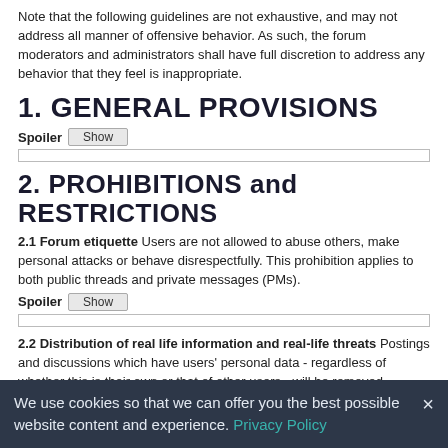Note that the following guidelines are not exhaustive, and may not address all manner of offensive behavior. As such, the forum moderators and administrators shall have full discretion to address any behavior that they feel is inappropriate.
1. GENERAL PROVISIONS
Spoiler [Show]
2. PROHIBITIONS and RESTRICTIONS
2.1 Forum etiquette Users are not allowed to abuse others, make personal attacks or behave disrespectfully. This prohibition applies to both public threads and private messages (PMs).
Spoiler [Show]
2.2 Distribution of real life information and real-life threats Postings and discussions which have users' personal data - regardless of whether this is their own or that of other users - will be removed. Threats of out-of-game violence are never warranted, and will be removed.
Spoiler [Show]
We use cookies so that we can offer you the best possible website content and experience. Privacy Policy